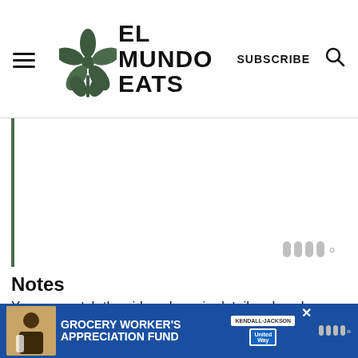EL MUNDO EATS
[Figure (illustration): Large embedded video or image area with a left dark green border, showing blank/white content area with a Wisk watermark icon at bottom right]
Notes
You can watch the video above in detail on how I assemble the layers.
[Figure (infographic): Advertisement banner: Grocery Worker's Appreciation Fund, featuring Kendall Jackson and United Way logos, with a close button]